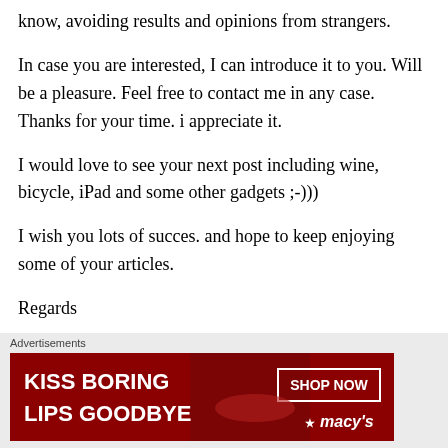know, avoiding results and opinions from strangers.
In case you are interested, I can introduce it to you. Will be a pleasure. Feel free to contact me in any case. Thanks for your time. i appreciate it.
I would love to see your next post including wine, bicycle, iPad and some other gadgets ;-)))
I wish you lots of succes. and hope to keep enjoying some of your articles.
Regards
[Figure (other): Macy's advertisement banner: KISS BORING LIPS GOODBYE with SHOP NOW button and Macy's star logo]
Advertisements